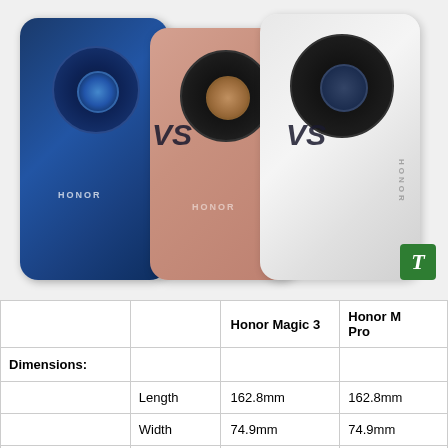[Figure (photo): Three Honor smartphones shown side by side with 'VS' text between them. Left: blue Honor Magic 3, center: pink/rose gold Honor Magic 3, right: white Honor Magic 3 Pro. A green logo badge with italic T in bottom right corner.]
|  |  | Honor Magic 3 | Honor Magic 3 Pro |
| --- | --- | --- | --- |
| Dimensions: |  |  |  |
|  | Length | 162.8mm | 162.8mm |
|  | Width | 74.9mm | 74.9mm |
|  | Thickness | 8.9mm | 8.9mm |